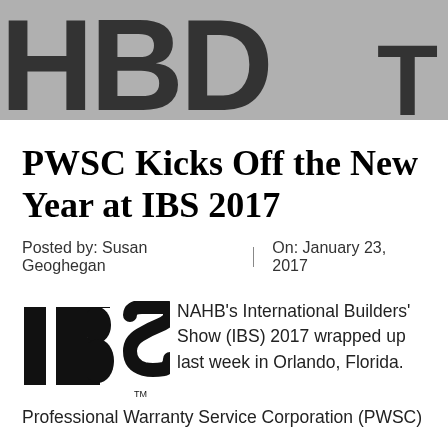[Figure (logo): Partial large stylized letters logo on grey banner background with 'T' on the right side]
PWSC Kicks Off the New Year at IBS 2017
Posted by: Susan Geoghegan  |  On: January 23, 2017
[Figure (logo): IBS logo in black bold letters with trademark symbol]
NAHB's International Builders' Show (IBS) 2017 wrapped up last week in Orlando, Florida.
Professional Warranty Service Corporation (PWSC)